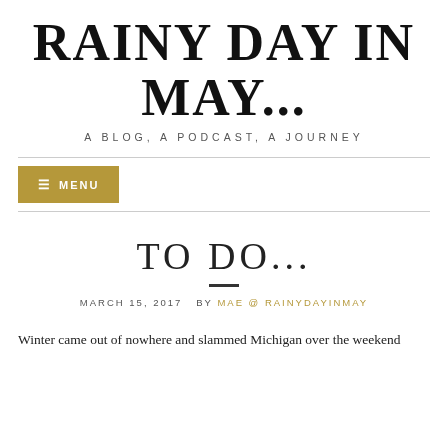RAINY DAY IN MAY...
A BLOG, A PODCAST, A JOURNEY
MENU
TO DO...
MARCH 15, 2017  BY MAE @ RAINYDAYINMAY
Winter came out of nowhere and slammed Michigan over the weekend